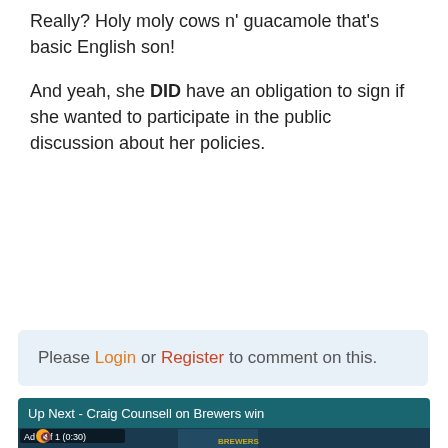Really? Holy moly cows n' guacamole that's basic English son!

And yeah, she DID have an obligation to sign if she wanted to participate in the public discussion about her policies.
Please Login or Register to comment on this.
[Figure (screenshot): Video player thumbnail showing Craig Counsell post-game press conference with Brewers branded backdrop. Header bar reads 'Up Next - Craig Counsell on Brewers win'. Ad overlay shows 'Ad 1 of 1 (0:30)' with mute button.]